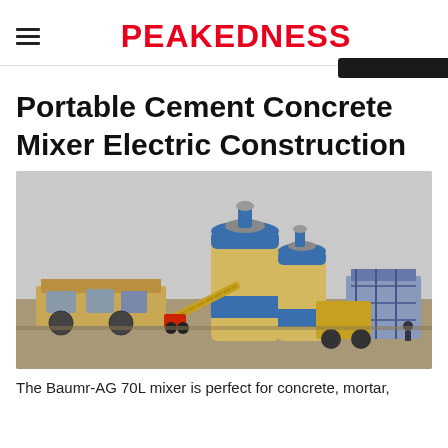PEAKEDNESS
Portable Cement Concrete Mixer Electric Construction
[Figure (photo): Industrial concrete batching plant with two large cylindrical silos in blue and cream/beige colors, surrounded by construction equipment, vehicles, and structural framework on a paved yard.]
The Baumr-AG 70L mixer is perfect for concrete, mortar,